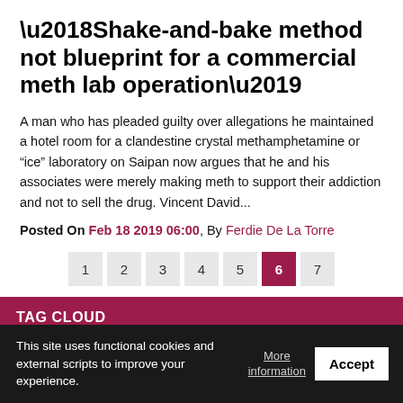‘Shake-and-bake method not blueprint for a commercial meth lab operation’
A man who has pleaded guilty over allegations he maintained a hotel room for a clandestine crystal methamphetamine or “ice” laboratory on Saipan now argues that he and his associates were merely making meth to support their addiction and not to sell the drug. Vincent David...
Posted On Feb 18 2019 06:00, By Ferdie De La Torre
TAG CLOUD
This site uses functional cookies and external scripts to improve your experience.